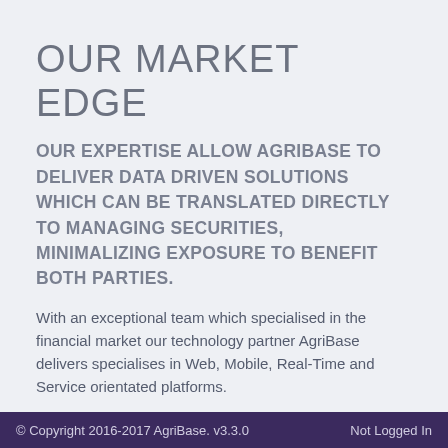OUR MARKET EDGE
OUR EXPERTISE ALLOW AGRIBASE TO DELIVER DATA DRIVEN SOLUTIONS WHICH CAN BE TRANSLATED DIRECTLY TO MANAGING SECURITIES, MINIMALIZING EXPOSURE TO BENEFIT BOTH PARTIES.
With an exceptional team which specialised in the financial market our technology partner AgriBase delivers specialises in Web, Mobile, Real-Time and Service orientated platforms.
Dedicated hardware Co-located at the JSE
Synergy through working together, good standing relations with our clients and suppliers.
© Copyright 2016-2017 AgriBase. v3.3.0    Not Logged In